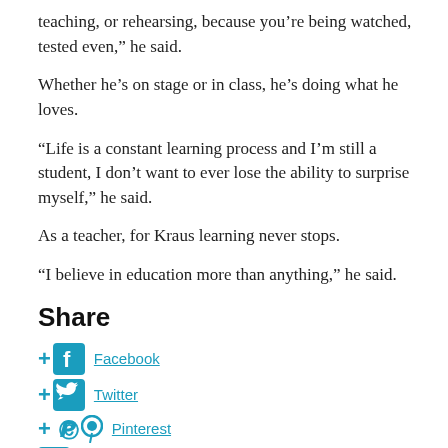teaching, or rehearsing, because you’re being watched, tested even,” he said.
Whether he’s on stage or in class, he’s doing what he loves.
“Life is a constant learning process and I’m still a student, I don’t want to ever lose the ability to surprise myself,” he said.
As a teacher, for Kraus learning never stops.
“I believe in education more than anything,” he said.
Share
Facebook
Twitter
Pinterest
LinkedIn